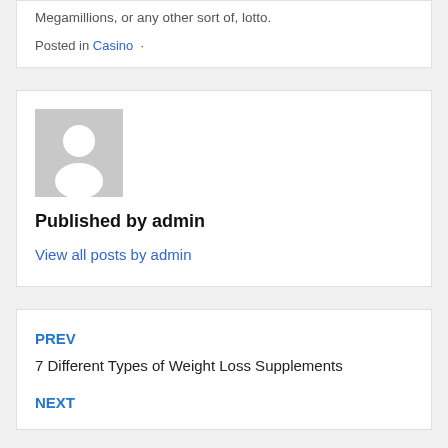Megamillions, or any other sort of, lotto.
Posted in Casino ·
[Figure (illustration): Generic user avatar placeholder image — grey background with white silhouette of a person]
Published by admin
View all posts by admin
PREV
7 Different Types of Weight Loss Supplements
NEXT